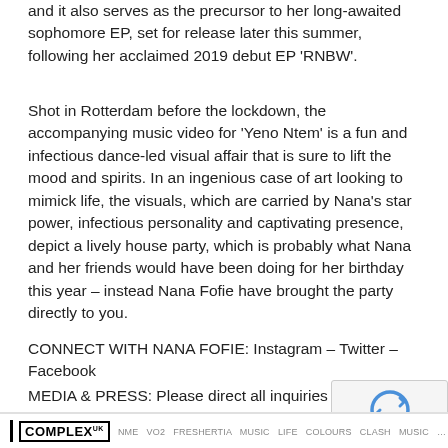and it also serves as the precursor to her long-awaited sophomore EP, set for release later this summer, following her acclaimed 2019 debut EP ‘RNBW’.
Shot in Rotterdam before the lockdown, the accompanying music video for ‘Yeno Ntem’ is a fun and infectious dance-led visual affair that is sure to lift the mood and spirits. In an ingenious case of art looking to mimick life, the visuals, which are carried by Nana’s star power, infectious personality and captivating presence, depict a lively house party, which is probably what Nana and her friends would have been doing for her birthday this year – instead Nana Fofie have brought the party directly to you.
CONNECT WITH NANA FOFIE: Instagram – Twitter – Facebook
MEDIA & PRESS: Please direct all inquiries to Ayo Adepo ayodele@wepluggoodmusic.com
COMPLEX | [media logos]